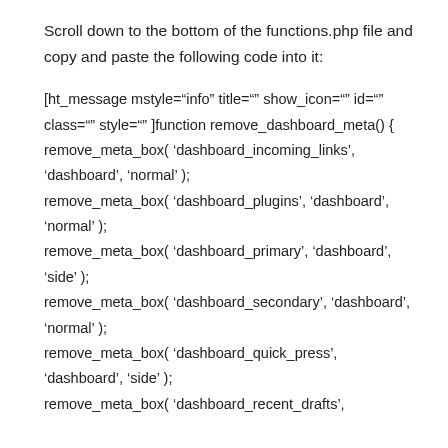Scroll down to the bottom of the functions.php file and copy and paste the following code into it:
[ht_message mstyle="info" title="" show_icon="" id="" class="" style="" ]function remove_dashboard_meta() { remove_meta_box( 'dashboard_incoming_links', 'dashboard', 'normal' ); remove_meta_box( 'dashboard_plugins', 'dashboard', 'normal' ); remove_meta_box( 'dashboard_primary', 'dashboard', 'side' ); remove_meta_box( 'dashboard_secondary', 'dashboard', 'normal' ); remove_meta_box( 'dashboard_quick_press', 'dashboard', 'side' ); remove_meta_box( 'dashboard_recent_drafts',